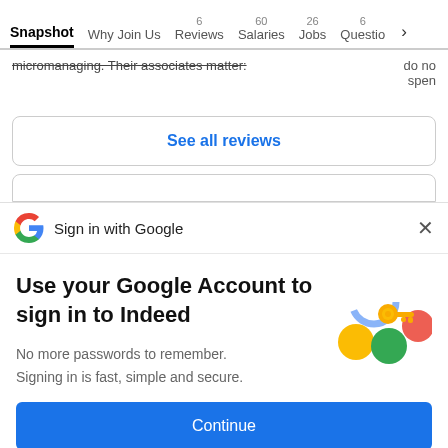Snapshot | Why Join Us | 6 Reviews | 60 Salaries | 26 Jobs | 6 Questions
micromanaging. Their associates matter: do not spend
See all reviews
Sign in with Google
Use your Google Account to sign in to Indeed
No more passwords to remember. Signing in is fast, simple and secure.
Continue